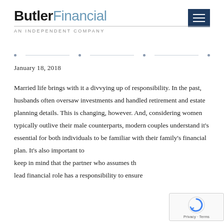ButlerFinancial — AN INDEPENDENT COMPANY
January 18, 2018
Married life brings with it a divvying up of responsibility. In the past, husbands often oversaw investments and handled retirement and estate planning details. This is changing, however. And, considering women typically outlive their male counterparts, modern couples understand it's essential for both individuals to be familiar with their family's financial plan. It's also important to keep in mind that the partner who assumes the lead financial role has a responsibility to ensure